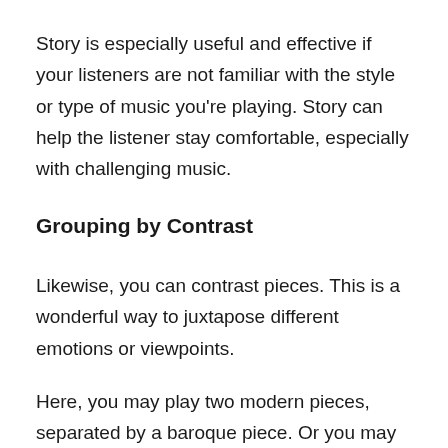Story is especially useful and effective if your listeners are not familiar with the style or type of music you're playing. Story can help the listener stay comfortable, especially with challenging music.
Grouping by Contrast
Likewise, you can contrast pieces. This is a wonderful way to juxtapose different emotions or viewpoints.
Here, you may play two modern pieces, separated by a baroque piece. Or you may